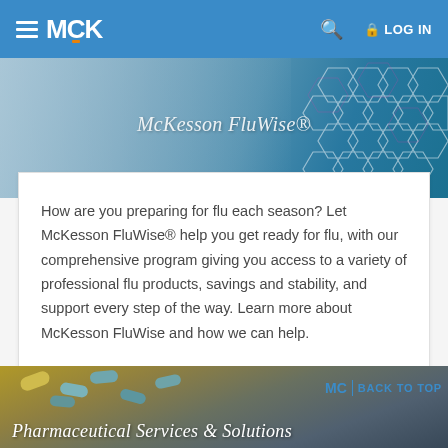MCK | LOG IN
[Figure (photo): McKesson FluWise® banner image showing hands and a geometric hexagon pattern in teal/blue tones, with italic text 'McKesson FluWise®' overlaid]
How are you preparing for flu each season? Let McKesson FluWise® help you get ready for flu, with our comprehensive program giving you access to a variety of professional flu products, savings and stability, and support every step of the way. Learn more about McKesson FluWise and how we can help.
LEARN MORE →
[Figure (photo): Bottom banner image showing blue pharmaceutical capsule pills spilling from a yellow container, with text 'Pharmaceutical Services & Solutions' overlaid in white italic]